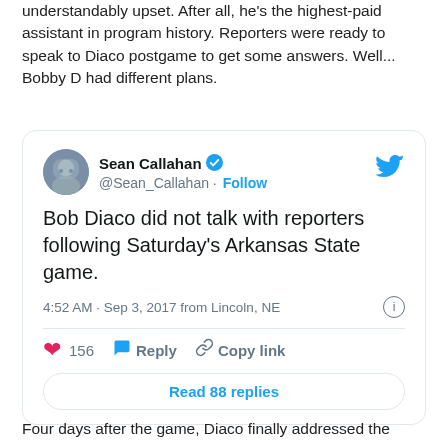understandably upset. After all, he's the highest-paid assistant in program history. Reporters were ready to speak to Diaco postgame to get some answers. Well... Bobby D had different plans.
[Figure (screenshot): Embedded tweet from Sean Callahan (@Sean_Callahan) with verified badge. Tweet text: 'Bob Diaco did not talk with reporters following Saturday's Arkansas State game.' Posted at 4:52 AM · Sep 3, 2017 from Lincoln, NE. 156 likes. Buttons: Reply, Copy link. Read 88 replies button.]
Four days after the game, Diaco finally addressed the